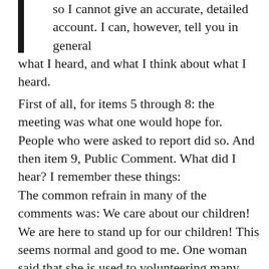so I cannot give an accurate, detailed account. I can, however, tell you in general what I heard, and what I think about what I heard.
First of all, for items 5 through 8: the meeting was what one would hope for. People who were asked to report did so. And then item 9, Public Comment. What did I hear? I remember these things:
The common refrain in many of the comments was: We care about our children! We are here to stand up for our children! This seems normal and good to me. One woman said that she is used to volunteering many hours in the